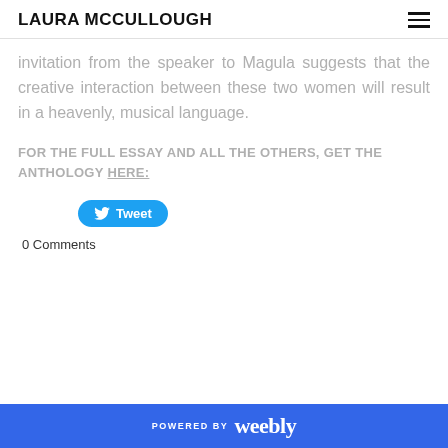LAURA MCCULLOUGH
invitation from the speaker to Magula suggests that the creative interaction between these two women will result in a heavenly, musical language.
FOR THE FULL ESSAY AND ALL THE OTHERS, GET THE ANTHOLOGY HERE:
[Figure (other): Twitter Tweet button (rounded blue button with bird icon and 'Tweet' text)]
0 Comments
POWERED BY weebly